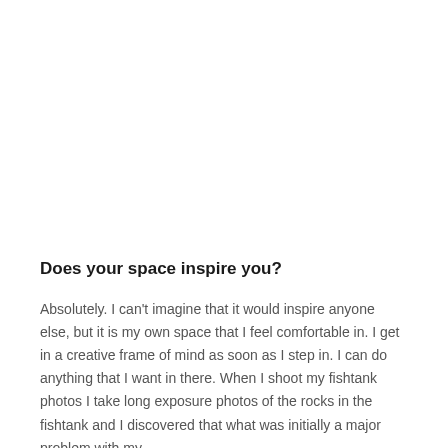Does your space inspire you?
Absolutely. I can't imagine that it would inspire anyone else, but it is my own space that I feel comfortable in. I get in a creative frame of mind as soon as I step in. I can do anything that I want in there. When I shoot my fishtank photos I take long exposure photos of the rocks in the fishtank and I discovered that what was initially a major problem with my